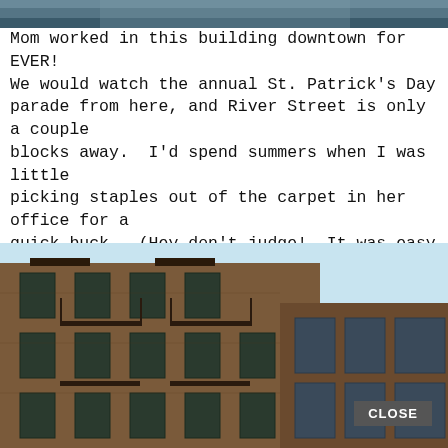[Figure (photo): Top portion of a photo showing a building, partially cropped]
Mom worked in this building downtown for EVER! We would watch the annual St. Patrick's Day parade from here, and River Street is only a couple blocks away.  I'd spend summers when I was little picking staples out of the carpet in her office for a quick buck.  (Hey don't judge!  It was easy money!) ————————————-
[Figure (photo): Photograph of a multi-story brick building with balconies and large windows against a light blue sky, with a CLOSE button overlay]